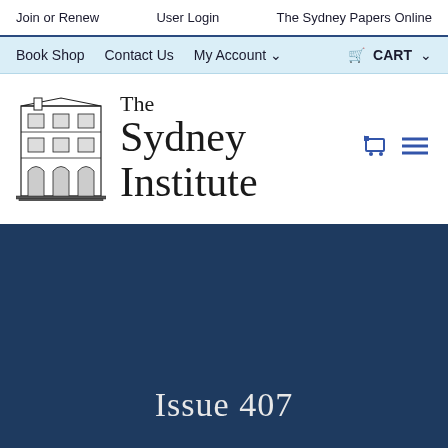Join or Renew   User Login   The Sydney Papers Online
Book Shop   Contact Us   My Account   CART
[Figure (logo): The Sydney Institute logo with an engraved building illustration on the left and serif text 'The Sydney Institute' on the right, plus cart and hamburger menu icons]
Issue 407